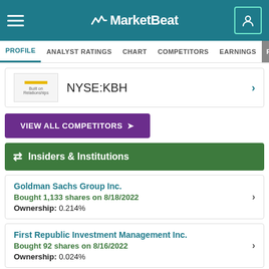MarketBeat
PROFILE  ANALYST RATINGS  CHART  COMPETITORS  EARNINGS  FINANCIALS
NYSE:KBH
VIEW ALL COMPETITORS >
Insiders & Institutions
Goldman Sachs Group Inc.
Bought 1,133 shares on 8/18/2022
Ownership: 0.214%
First Republic Investment Management Inc.
Bought 92 shares on 8/16/2022
Ownership: 0.024%
Jane Street Group LLC